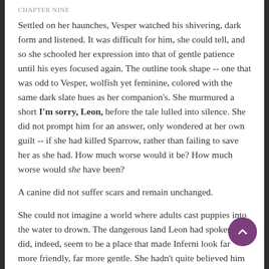CHAPTER NINE
Settled on her haunches, Vesper watched his shivering, dark form and listened. It was difficult for him, she could tell, and so she schooled her expression into that of gentle patience until his eyes focused again. The outline took shape -- one that was odd to Vesper, wolfish yet feminine, colored with the same dark slate hues as her companion's. She murmured a short I'm sorry, Leon, before the tale lulled into silence. She did not prompt him for an answer, only wondered at her own guilt -- if she had killed Sparrow, rather than failing to save her as she had. How much worse would it be? How much worse would she have been?
A canine did not suffer scars and remain unchanged.
She could not imagine a world where adults cast puppies into the water to drown. The dangerous land Leon had spoken of did, indeed, seem to be a place that made Inferni look far more friendly, far more gentle. She hadn't quite believed him back then, couldn't believe a place like that would exist without immediate revolt -- but Leon spoke of it in an almost matter-of-fact way, of the drowning.